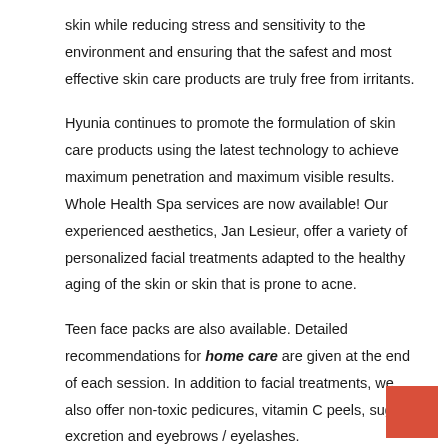skin while reducing stress and sensitivity to the environment and ensuring that the safest and most effective skin care products are truly free from irritants.
Hyunia continues to promote the formulation of skin care products using the latest technology to achieve maximum penetration and maximum visible results. Whole Health Spa services are now available! Our experienced aesthetics, Jan Lesieur, offer a variety of personalized facial treatments adapted to the healthy aging of the skin or skin that is prone to acne.
Teen face packs are also available. Detailed recommendations for home care are given at the end of each session. In addition to facial treatments, we also offer non-toxic pedicures, vitamin C peels, sugar excretion and eyebrows / eyelashes.